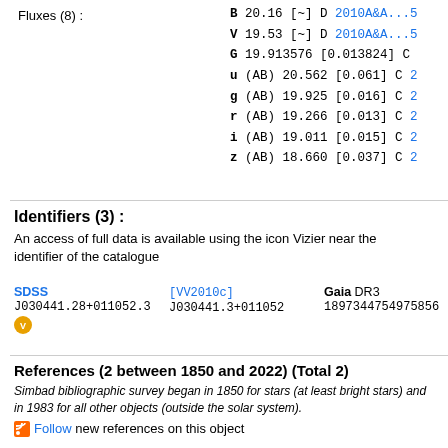Fluxes (8) :
B 20.16 [~] D 2010A&A...5...
V 19.53 [~] D 2010A&A...5...
G 19.913576 [0.013824] C ...
u (AB) 20.562 [0.061] C 2...
g (AB) 19.925 [0.016] C 2...
r (AB) 19.266 [0.013] C 2...
i (AB) 19.011 [0.015] C 2...
z (AB) 18.660 [0.037] C 2...
Identifiers (3) :
An access of full data is available using the icon Vizier near the identifier of the catalogue
SDSS J030441.28+011052.3  [VV2010c] J030441.3+011052  Gaia DR3 1897344754975856
References (2 between 1850 and 2022) (Total 2)
Simbad bibliographic survey began in 1850 for stars (at least bright stars) and in 1983 for all other objects (outside the solar system).
Follow new references on this object